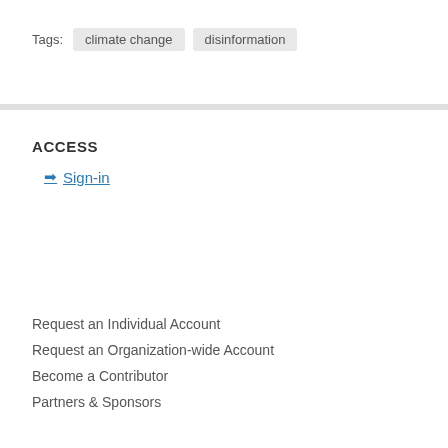Tags:  climate change  disinformation
ACCESS
➔ Sign-in
Request an Individual Account
Request an Organization-wide Account
Become a Contributor
Partners & Sponsors